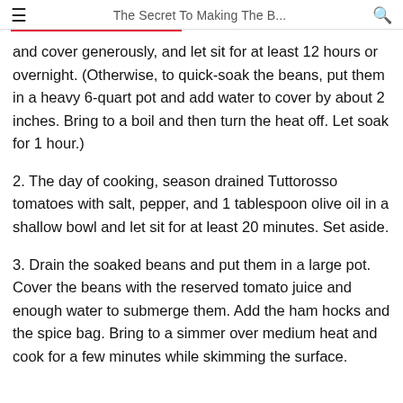The Secret To Making The B...
and cover generously, and let sit for at least 12 hours or overnight. (Otherwise, to quick-soak the beans, put them in a heavy 6-quart pot and add water to cover by about 2 inches. Bring to a boil and then turn the heat off. Let soak for 1 hour.)
2. The day of cooking, season drained Tuttorosso tomatoes with salt, pepper, and 1 tablespoon olive oil in a shallow bowl and let sit for at least 20 minutes. Set aside.
3. Drain the soaked beans and put them in a large pot. Cover the beans with the reserved tomato juice and enough water to submerge them. Add the ham hocks and the spice bag. Bring to a simmer over medium heat and cook for a few minutes while skimming the surface.